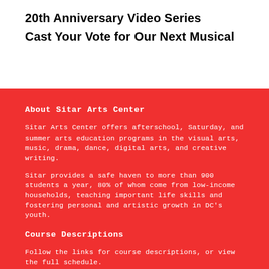20th Anniversary Video Series
Cast Your Vote for Our Next Musical
About Sitar Arts Center
Sitar Arts Center offers afterschool, Saturday, and summer arts education programs in the visual arts, music, drama, dance, digital arts, and creative writing.
Sitar provides a safe haven to more than 900 students a year, 80% of whom come from low-income households, teaching important life skills and fostering personal and artistic growth in DC's youth.
Course Descriptions
Follow the links for course descriptions, or view the full schedule.
Early Childhood
Youth
Teens